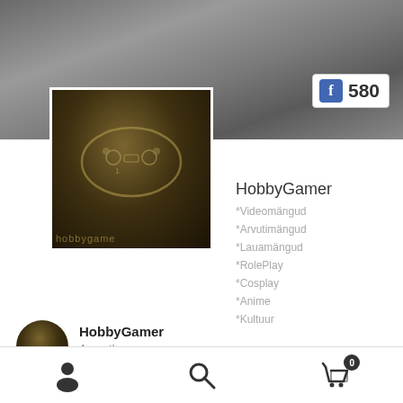[Figure (screenshot): Cover photo - dark blurred background photo of hands on gaming controller]
580
[Figure (photo): HobbyGamer profile avatar - dark textured image with game controller and logo text 'hobbygame']
HobbyGamer
*Videomängud
*Arvutimängud
*Lauamängud
*RolePlay
*Cosplay
*Anime
*Kultuur
[Figure (photo): HobbyGamer small post avatar - dark textured circle]
HobbyGamer
4 months ago
Kõik pildid on ise tehtud reaalsetest toodetest.
Peida